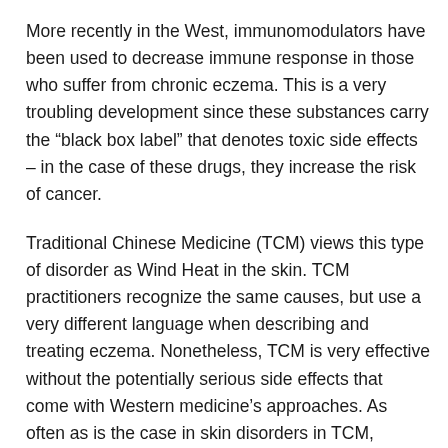More recently in the West, immunomodulators have been used to decrease immune response in those who suffer from chronic eczema. This is a very troubling development since these substances carry the “black box label” that denotes toxic side effects – in the case of these drugs, they increase the risk of cancer.
Traditional Chinese Medicine (TCM) views this type of disorder as Wind Heat in the skin. TCM practitioners recognize the same causes, but use a very different language when describing and treating eczema. Nonetheless, TCM is very effective without the potentially serious side effects that come with Western medicine’s approaches. As often as is the case in skin disorders in TCM,